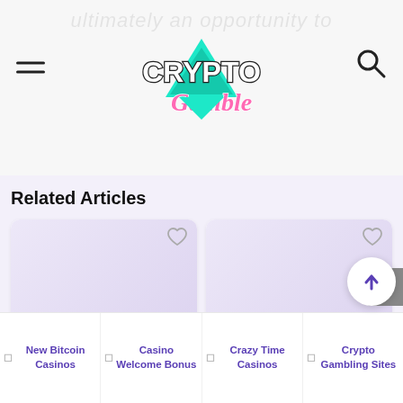CryptoGamble navigation header with hamburger menu and search icon
Related Articles
[Figure (illustration): Card image placeholder for Titan's Rising Slot Review with heart icon]
Titan's Rising Slot Review
[Figure (illustration): Card image placeholder for Book of the Divi Slot Review with heart icon]
Book of the Divi Slot Review
New Bitcoin Casinos | Casino Welcome Bonus | Crazy Time Casinos | Crypto Gambling Sites